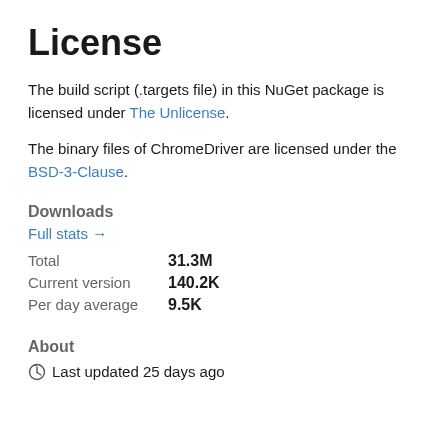License
The build script (.targets file) in this NuGet package is licensed under The Unlicense.
The binary files of ChromeDriver are licensed under the BSD-3-Clause.
Downloads
Full stats →
Total   31.3M
Current version   140.2K
Per day average   9.5K
About
Last updated 25 days ago